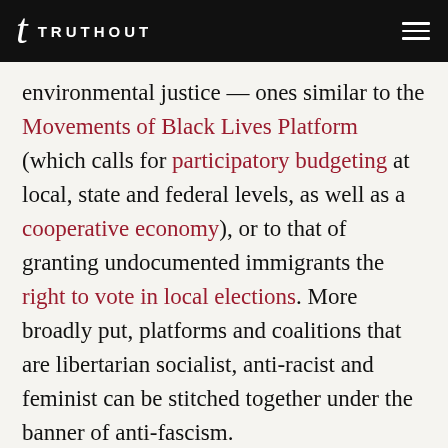TRUTHOUT
environmental justice — ones similar to the Movements of Black Lives Platform (which calls for participatory budgeting at local, state and federal levels, as well as a cooperative economy), or to that of granting undocumented immigrants the right to vote in local elections. More broadly put, platforms and coalitions that are libertarian socialist, anti-racist and feminist can be stitched together under the banner of anti-fascism.

What makes this possible is that developments